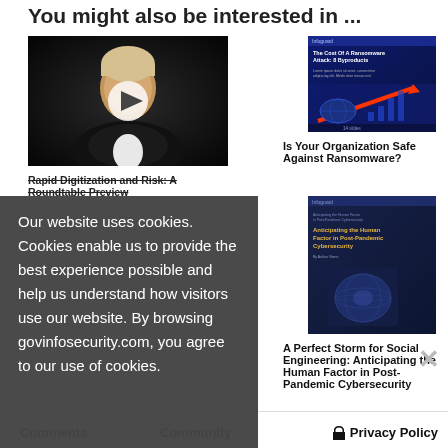You might also be interested in ...
[Figure (photo): Video thumbnail of a man in a suit with a play button overlay]
[Figure (photo): Ransomware report cover with red arrow on dark blue background. Title: The Cost Of A Ransomware Attack: 8 Byproducts]
Rapid Digitization and Risk: A Roundtable Preview
Is Your Organization Safe Against Ransomware?
[Figure (screenshot): Article thumbnail: Anticipating the Human Factor in Post-Pandemic Cybersecurity — dark blue cover with circular globe image]
Our website uses cookies. Cookies enable us to provide the best experience possible and help us understand how visitors use our website. By browsing govinfosecurity.com, you agree to our use of cookies.
A Perfect Storm for Social Engineering: Anticipating the Human Factor in Post-Pandemic Cybersecurity
Comments
Community
Privacy Policy